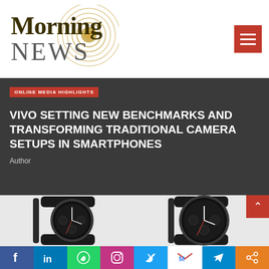[Figure (logo): Morning News logo with concentric golden circle design, bold dark olive 'Morning' text and grey 'NEWS' text]
[Figure (other): Red hamburger menu button with three white horizontal lines]
ONLINE MEDIA HIGHLIGHTS
VIVO SETTING NEW BENCHMARKS AND TRANSFORMING TRADITIONAL CAMERA SETUPS IN SMARTPHONES
Author
[Figure (photo): Two dark smartwatches with round faces, black straps, displaying analog watch faces with subdials and date windows]
[Figure (other): Social media share bar with icons for Facebook, LinkedIn, WhatsApp, Instagram, Twitter, Gmail, Telegram, and share]